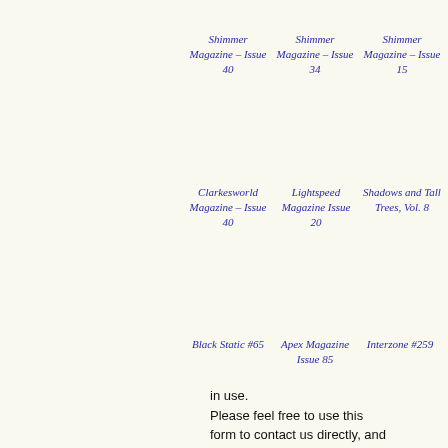Shimmer Magazine – Issue 40
Shimmer Magazine – Issue 34
Shimmer Magazine – Issue 15
Clarkesworld Magazine – Issue 40
Lightspeed Magazine Issue 20
Shadows and Tall Trees, Vol. 8
Black Static #65
Apex Magazine Issue 85
Interzone #259
in use.
Please feel free to use this form to contact us directly, and we'll reply by email. Thank you!